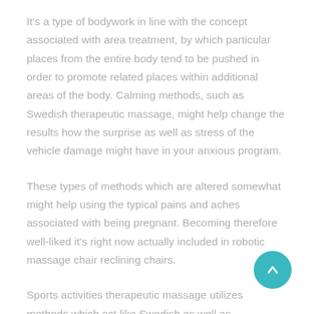It's a type of bodywork in line with the concept associated with area treatment, by which particular places from the entire body tend to be pushed in order to promote related places within additional areas of the body. Calming methods, such as Swedish therapeutic massage, might help change the results how the surprise as well as stress of the vehicle damage might have in your anxious program.
These types of methods which are altered somewhat might help using the typical pains and aches associated with being pregnant. Becoming therefore well-liked it's right now actually included in robotic massage chair reclining chairs.
Sports activities therapeutic massage utilizes methods which act like Swedish as well as